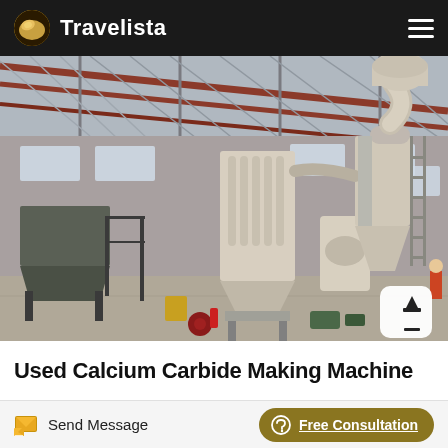Travelista
[Figure (photo): Industrial warehouse interior with calcium carbide making machinery including dust collection units, grinding mills, cyclone separators, and conveyor equipment on a concrete floor under a steel roof structure.]
Used Calcium Carbide Making Machine
Send Message | Free Consultation